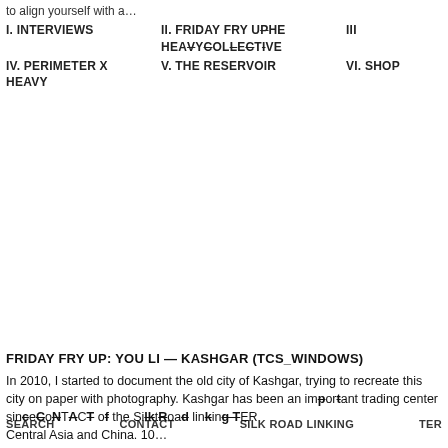to align yourself with a…
I. INTERVIEWS
II. FRIDAY FRY UP
THE HEAVY COLLECTIVE III
IV. PERIMETER X HEAVY
V. THE RESERVOIR
VI. SHOP
FRIDAY FRY UP: YOU LI — KASHGAR (TCS_WINDOWS)
In 2010, I started to document the old city of Kashgar, trying to recreate this city on paper with photography. Kashgar has been an important trading center since the time of the Silk Road linking Central Asia and China. 10…
SEARCH   CONTACT   SILK ROAD LINKING   TER